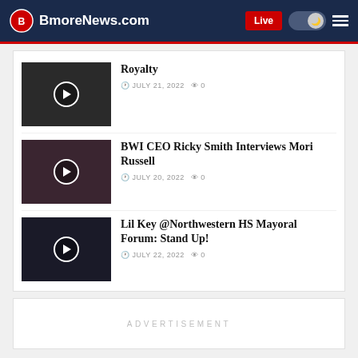BmoreNews.com
Royalty
JULY 21, 2022  0
BWI CEO Ricky Smith Interviews Mori Russell
JULY 20, 2022  0
Lil Key @Northwestern HS Mayoral Forum: Stand Up!
JULY 22, 2022  0
ADVERTISEMENT